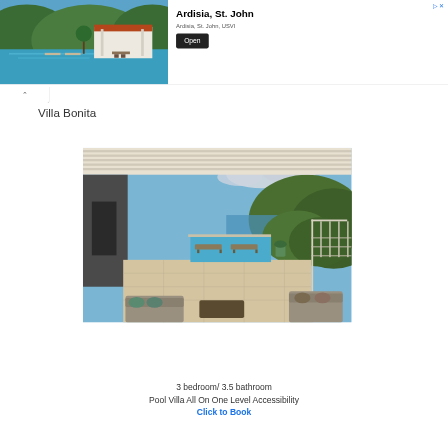[Figure (photo): Advertisement banner showing Ardisia villa with pool and tropical hillside, title 'Ardisia, St. John', subtitle 'Ardisia, St. John, USVI', Open button]
Villa Bonita
[Figure (photo): Exterior photo of Villa Bonita showing terrace with pool, lounge chairs, outdoor seating and hillside ocean view under blue sky]
3 bedroom/ 3.5 bathroom
Pool Villa All On One Level Accessibility
Click to Book